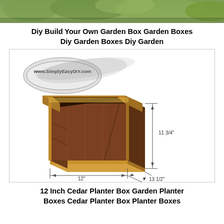[Figure (photo): Outdoor garden/nature photo strip at top of page]
Diy Build Your Own Garden Box Garden Boxes Diy Garden Boxes Diy Garden
[Figure (engineering-diagram): Technical engineering diagram of a 12-inch cedar planter box shown in 3D perspective with dimensions: 12 inches wide, 13 1/2 inches deep, 11 3/4 inches tall. Website watermark: www.SimplyEasyDIY.com. Wooden planter box with vertical slat sides, decorative top trim, and base platform, shown in warm brown cedar color.]
12 Inch Cedar Planter Box Garden Planter Boxes Cedar Planter Box Planter Boxes